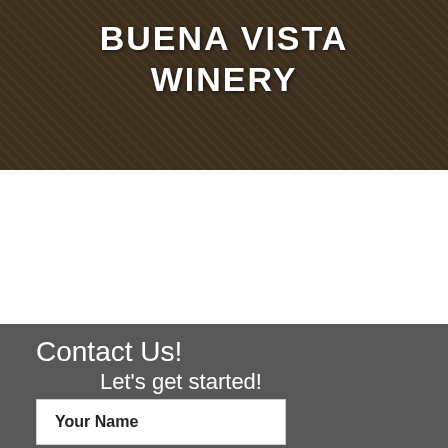[Figure (photo): Top image showing winery equipment/display box with dried botanicals or grain, overlaid with a dark semi-transparent filter. Background shows industrial winery machinery.]
BUENA VISTA
WINERY
[Figure (photo): Middle image showing close-up of corrugated hose/tube on left and winery machinery with a metal bar and drill/borer on right, scattered material on ground.]
Contact Us!
Let's get started!
Your Name